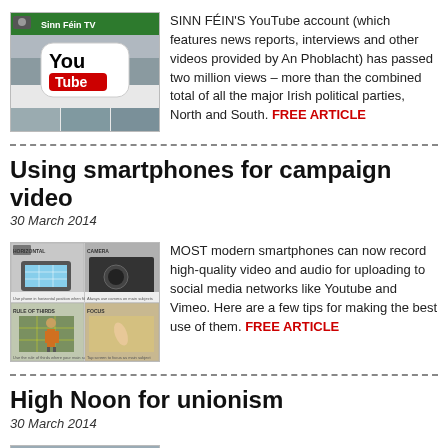[Figure (screenshot): Sinn Féin TV YouTube account screenshot with YouTube logo]
SINN FÉIN'S YouTube account (which features news reports, interviews and other videos provided by An Phoblacht) has passed two million views – more than the combined total of all the major Irish political parties, North and South. FREE ARTICLE
Using smartphones for campaign video
30 March 2014
[Figure (screenshot): Smartphone video tips image showing horizontal, camera, rule of thirds, focus panels]
MOST modern smartphones can now record high-quality video and audio for uploading to social media networks like Youtube and Vimeo. Here are a few tips for making the best use of them. FREE ARTICLE
High Noon for unionism
30 March 2014
[Figure (photo): St Patrick's Day photo]
ON ST PATRICK'S DAY, Belfast Mayor Máirtín